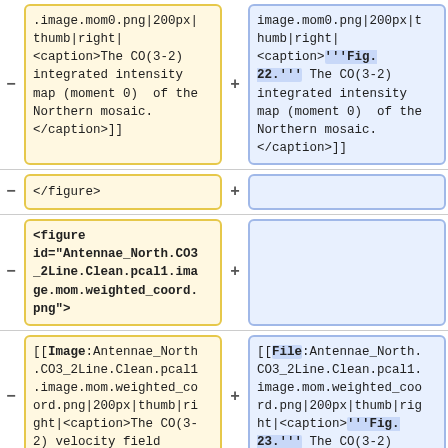Row 1 left: .image.mom0.png|200px|thumb|right|<caption>The CO(3-2) integrated intensity map (moment 0) of the Northern mosaic.</caption>]]
Row 1 right: image.mom0.png|200px|thumb|right|<caption>'''Fig. 22.''' The CO(3-2) integrated intensity map (moment 0) of the Northern mosaic.</caption>]]
Row 2 left: </figure>
Row 2 right: (empty)
Row 3 left: <figure id="Antennae_North.CO3_2Line.Clean.pcal1.image.mom.weighted_coord.png">
Row 3 right: (empty)
Row 4 left: [[Image:Antennae_North.CO3_2Line.Clean.pcal1.image.mom.weighted_coord.png|200px|thumb|right|<caption>The CO(3-2) velocity field
Row 4 right: [[File:Antennae_North.CO3_2Line.Clean.pcal1.image.mom.weighted_coord.png|200px|thumb|right|<caption>'''Fig. 23.''' The CO(3-2)